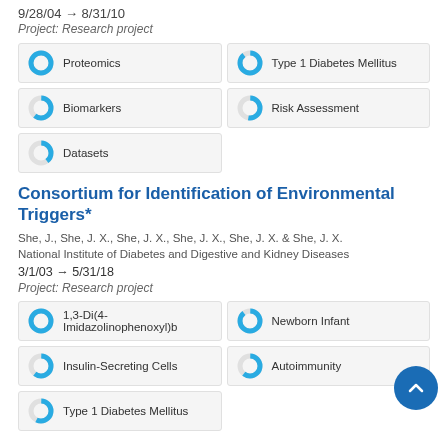9/28/04 → 8/31/10
Project: Research project
Proteomics
Type 1 Diabetes Mellitus
Biomarkers
Risk Assessment
Datasets
Consortium for Identification of Environmental Triggers*
She, J., She, J. X., She, J. X., She, J. X., She, J. X. & She, J. X.
National Institute of Diabetes and Digestive and Kidney Diseases
3/1/03 → 5/31/18
Project: Research project
1,3-Di(4-Imidazolinophenoxyl)b
Newborn Infant
Insulin-Secreting Cells
Autoimmunity
Type 1 Diabetes Mellitus